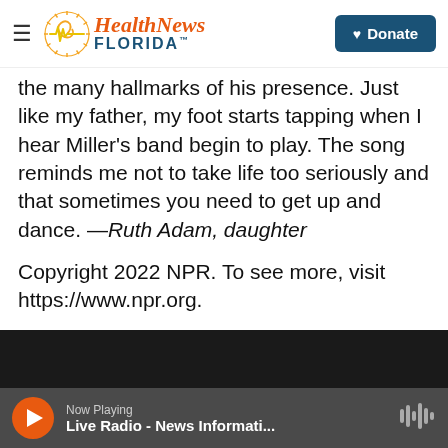Health News Florida — Donate
the many hallmarks of his presence. Just like my father, my foot starts tapping when I hear Miller's band begin to play. The song reminds me not to take life too seriously and that sometimes you need to get up and dance. —Ruth Adam, daughter
Copyright 2022 NPR. To see more, visit https://www.npr.org.
[Figure (screenshot): Embedded video player showing 'Video unavailable' message on dark background]
Now Playing — Live Radio - News Informati...